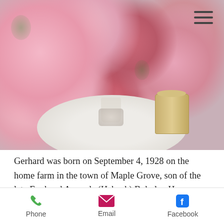[Figure (photo): Photograph of pink roses in a vase arrangement on a white round table, with a decorative candle nearby. A hamburger menu icon (three horizontal lines) is visible in the upper right of the image.]
Gerhard was born on September 4, 1928 on the home farm in the town of Maple Grove, son of the late Fred and Amanda (Haback) Bubolz.  He was a graduate of St. John St. James Lutheran School, class of 1943 and Reedsville High
Phone  Email  Facebook